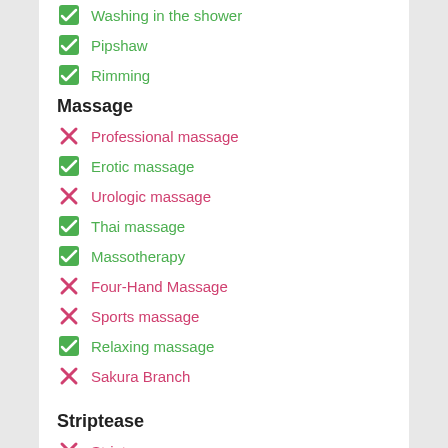Washing in the shower
Pipshaw
Rimming
Massage
Professional massage
Erotic massage
Urologic massage
Thai massage
Massotherapy
Four-Hand Massage
Sports massage
Relaxing massage
Sakura Branch
Striptease
Striptease
Belly dance
Lesbian